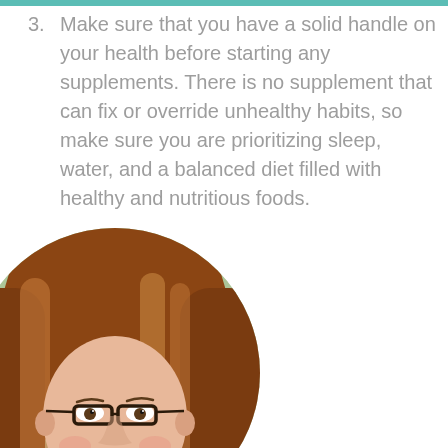3. Make sure that you have a solid handle on your health before starting any supplements. There is no supplement that can fix or override unhealthy habits, so make sure you are prioritizing sleep, water, and a balanced diet filled with healthy and nutritious foods.
[Figure (photo): Circular portrait photo of a smiling woman with reddish-brown hair and dark-rimmed glasses, set against a blurred green outdoor background.]